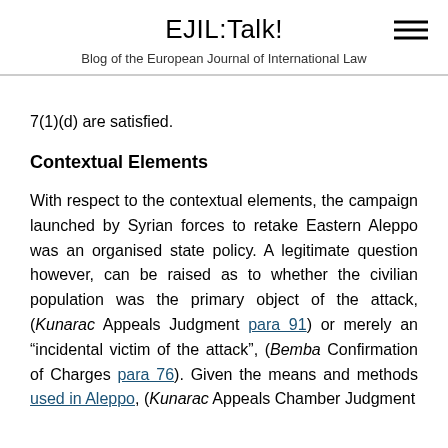EJIL:Talk!
Blog of the European Journal of International Law
7(1)(d) are satisfied.
Contextual Elements
With respect to the contextual elements, the campaign launched by Syrian forces to retake Eastern Aleppo was an organised state policy. A legitimate question however, can be raised as to whether the civilian population was the primary object of the attack, (Kunarac Appeals Judgment para 91) or merely an “incidental victim of the attack”, (Bemba Confirmation of Charges para 76). Given the means and methods used in Aleppo, (Kunarac Appeals Chamber Judgment